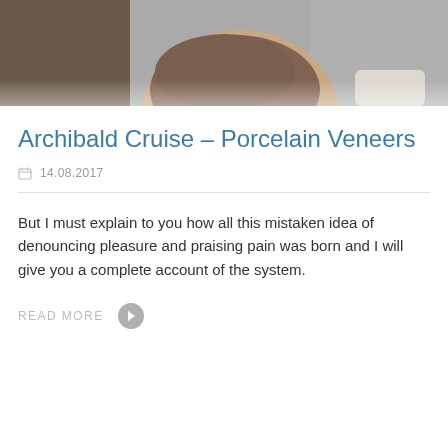[Figure (photo): Close-up photo of a man's neck and lower face area showing beard stubble, with gray background. Only the lower face, chin, neck and partial shoulder/shirt visible.]
Archibald Cruise – Porcelain Veneers
14.08.2017
But I must explain to you how all this mistaken idea of denouncing pleasure and praising pain was born and I will give you a complete account of the system.
READ MORE